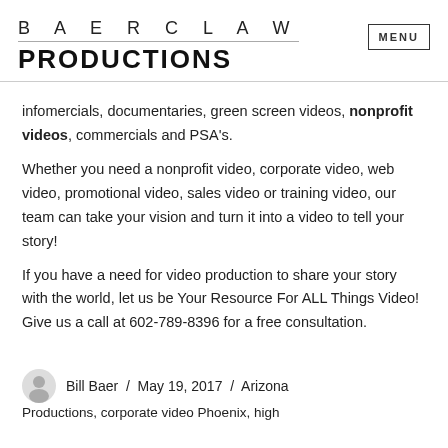BAERCLAW PRODUCTIONS
infomercials, documentaries, green screen videos, nonprofit videos, commercials and PSA's.
Whether you need a nonprofit video, corporate video, web video, promotional video, sales video or training video, our team can take your vision and turn it into a video to tell your story!
If you have a need for video production to share your story with the world, let us be Your Resource For ALL Things Video! Give us a call at 602-789-8396 for a free consultation.
Bill Baer / May 19, 2017 / Arizona Productions, corporate video Phoenix, high